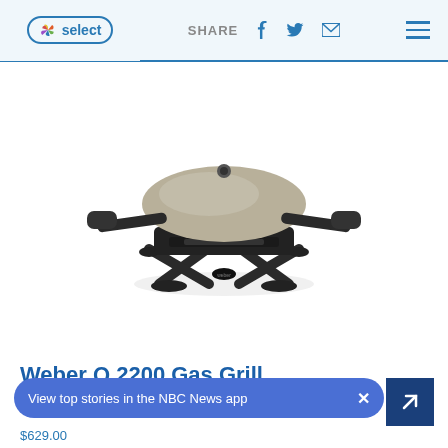NBC Select | SHARE (Facebook, Twitter, Email) | Menu
[Figure (photo): Weber Q 2200 Gas Grill product photo on white background — a compact portable gas grill with silver/titanium dome lid, black side handles, and black X-shaped base stand]
Weber Q 2200 Gas Grill
View top stories in the NBC News app
$629.00